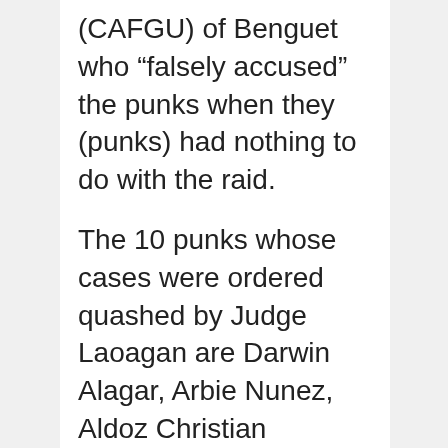(CAFGU) of Benguet who “falsely accused” the punks when they (punks) had nothing to do with the raid.
The 10 punks whose cases were ordered quashed by Judge Laoagan are Darwin Alagar, Arbie Nunez, Aldoz Christian Manoza, Neil Russel Balajadia, Jethro Villagracia, Rondon Pandino, Anderson Alonzo, Jefferson de la Rosa and minors Ray Lester Mendoza and Frencess Ann Barral. Sanidad added